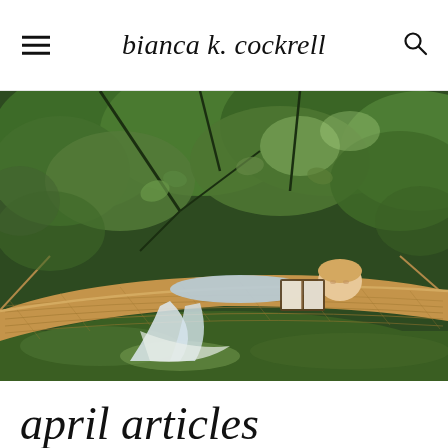bianca k. cockrell
[Figure (photo): Painting of a young person lying in a woven hammock in a lush green garden setting, reading a book. Dappled light filters through the leafy trees above. The figure wears a light blue dress. Below the hammock, white fabric drapes to the ground.]
april articles